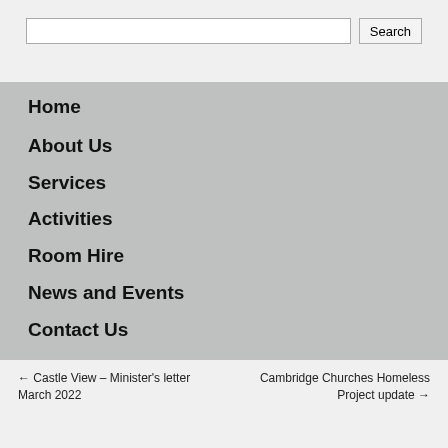Search
Home
About Us
Services
Activities
Room Hire
News and Events
Contact Us
← Castle View – Minister's letter March 2022    Cambridge Churches Homeless Project update →